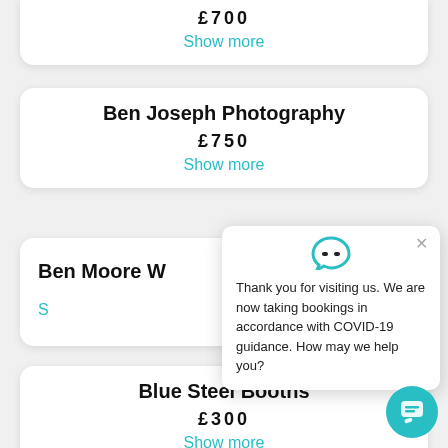£700
Show more
Ben Joseph Photography
£750
Show more
Ben Moore W
S
[Figure (screenshot): Chat popup with logo, close button, and message: Thank you for visiting us. We are now taking bookings in accordance with COVID-19 guidance. How may we help you?]
Blue Steel Booths
£300
Show more